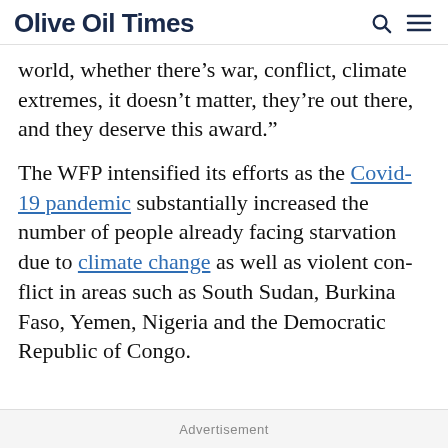Olive Oil Times
world, whether there’s war, conflict, climate extremes, it doesn’t matter, they’re out there, and they deserve this award.”
The WFP intensified its efforts as the Covid-19 pandemic substantially increased the number of people already facing starvation due to climate change as well as violent conflict in areas such as South Sudan, Burkina Faso, Yemen, Nigeria and the Democratic Republic of Congo.
Advertisement